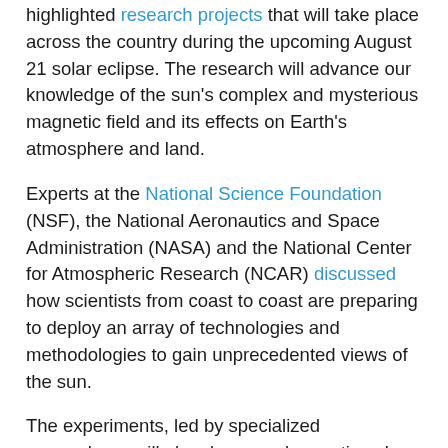highlighted research projects that will take place across the country during the upcoming August 21 solar eclipse. The research will advance our knowledge of the sun's complex and mysterious magnetic field and its effects on Earth's atmosphere and land.
Experts at the National Science Foundation (NSF), the National Aeronautics and Space Administration (NASA) and the National Center for Atmospheric Research (NCAR) discussed how scientists from coast to coast are preparing to deploy an array of technologies and methodologies to gain unprecedented views of the sun.
The experiments, led by specialized researchers, will also draw on observations by amateur sky watchers and students.
"This total solar eclipse across the United States is a unique opportunity in modern times, enabling the entire country to be engaged through modern technology and social media," said Carrie Black, a program director in NSF's Division of Atmospheric